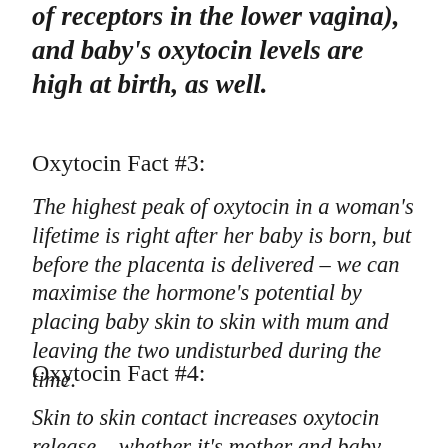of receptors in the lower vagina), and baby's oxytocin levels are high at birth, as well.
Oxytocin Fact #3:
The highest peak of oxytocin in a woman's lifetime is right after her baby is born, but before the placenta is delivered – we can maximise the hormone's potential by placing baby skin to skin with mum and leaving the two undisturbed during the time.
Oxytocin Fact #4:
Skin to skin contact increases oxytocin release – whether it's mother and baby